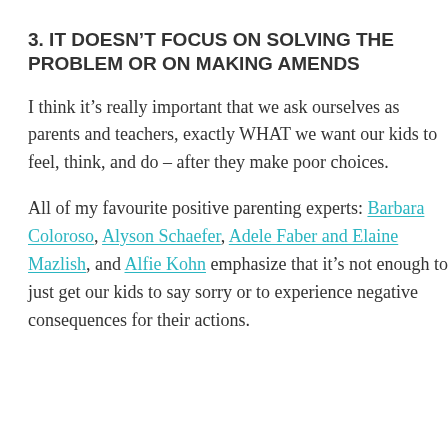3. IT DOESN'T FOCUS ON SOLVING THE PROBLEM OR ON MAKING AMENDS
I think it's really important that we ask ourselves as parents and teachers, exactly WHAT we want our kids to feel, think, and do – after they make poor choices.
All of my favourite positive parenting experts: Barbara Coloroso, Alyson Schaefer, Adele Faber and Elaine Mazlish, and Alfie Kohn emphasize that it's not enough to just get our kids to say sorry or to experience negative consequences for their actions.